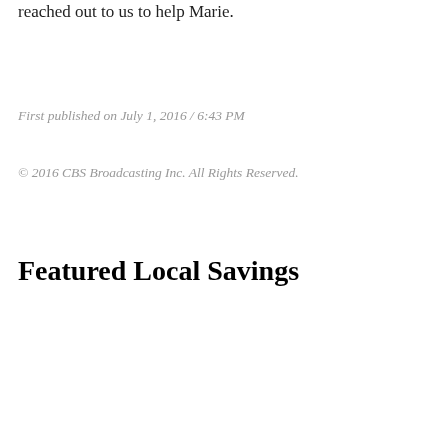reached out to us to help Marie.
First published on July 1, 2016 / 6:43 PM
© 2016 CBS Broadcasting Inc. All Rights Reserved.
Featured Local Savings